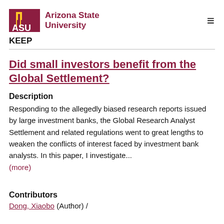ASU Arizona State University
KEEP
Did small investors benefit from the Global Settlement?
Description
Responding to the allegedly biased research reports issued by large investment banks, the Global Research Analyst Settlement and related regulations went to great lengths to weaken the conflicts of interest faced by investment bank analysts. In this paper, I investigate...
(more)
Contributors
Dong, Xiaobo (Author)  /